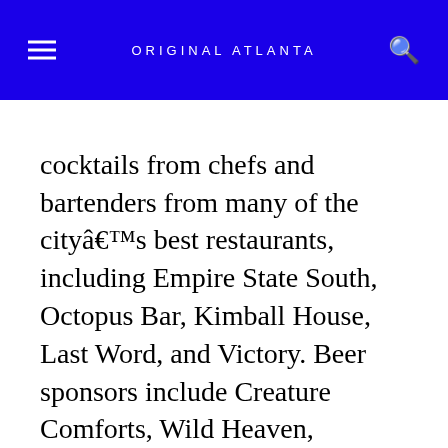ORIGINAL ATLANTA
cocktails from chefs and bartenders from many of the cityâ€™s best restaurants, including Empire State South, Octopus Bar, Kimball House, Last Word, and Victory. Beer sponsors include Creature Comforts, Wild Heaven, Orpheus, a...
Cost: $25
[click here for more]